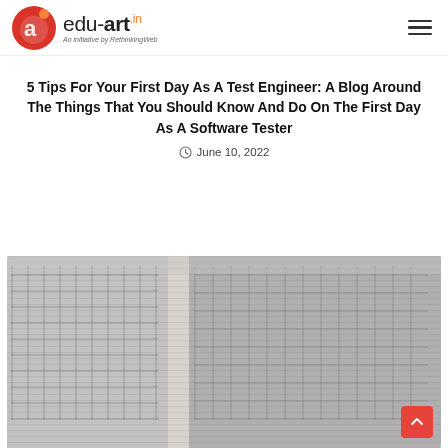edu-art.in An initiative by RethinkingWeb
5 Tips For Your First Day As A Test Engineer: A Blog Around The Things That You Should Know And Do On The First Day As A Software Tester
June 10, 2022
[Figure (photo): Blurred outdoor architectural photo showing ornate building facade with decorative metalwork, viewed through glass or window with a vertical divider]